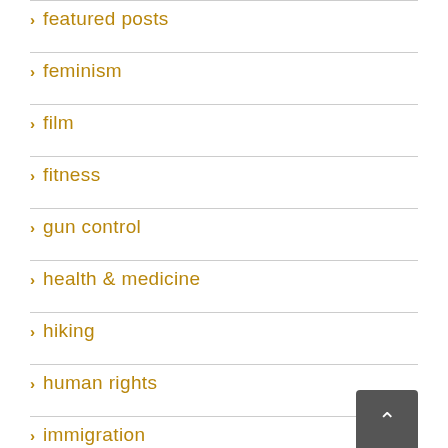> featured posts
> feminism
> film
> fitness
> gun control
> health & medicine
> hiking
> human rights
> immigration
> journalism